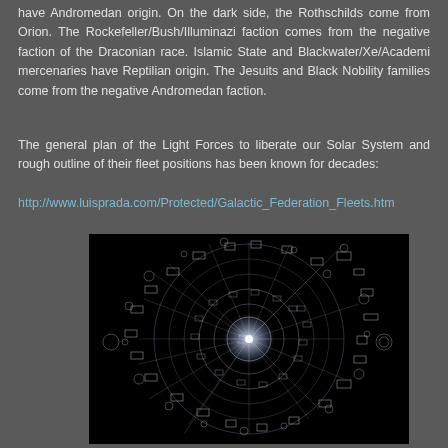have Andromedan origin. On the dark side, the Rothschilds come from Orion. The Rockefeller/Bush/Illuminazi faction comes from the negative faction of the Draconian race. Islamic State and Blackwater/Xe/Academi mercenaries have Reptilian origin. The Jesuits and Black Nobility families come from the negative Andromedan faction.
The general plan of the Light Forces to liberate our Solar System and rough outline of their fleet positions has been known for decades:
http://www.luisprada.com/Protected/Galactic_Federation_Fleets.htm
[Figure (engineering-diagram): Complex circular schematic/diagram on a black background showing concentric rings of geometric shapes, circles, rectangles, and lines radiating from a central bright point, rendered in white and light purple outlines, resembling a galactic fleet or celestial map.]